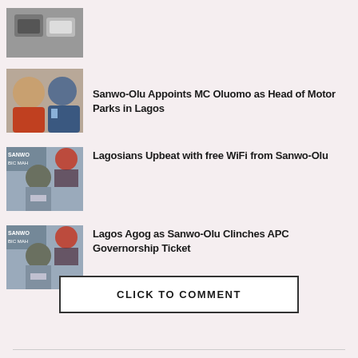[Figure (photo): Thumbnail image - money/awards related]
[Figure (photo): Two men - MC Oluomo and Sanwo-Olu]
Sanwo-Olu Appoints MC Oluomo as Head of Motor Parks in Lagos
[Figure (photo): Man speaking at Sanwo-Olu event with banner]
Lagosians Upbeat with free WiFi from Sanwo-Olu
[Figure (photo): Man speaking at Sanwo-Olu event with banner]
Lagos Agog as Sanwo-Olu Clinches APC Governorship Ticket
CLICK TO COMMENT